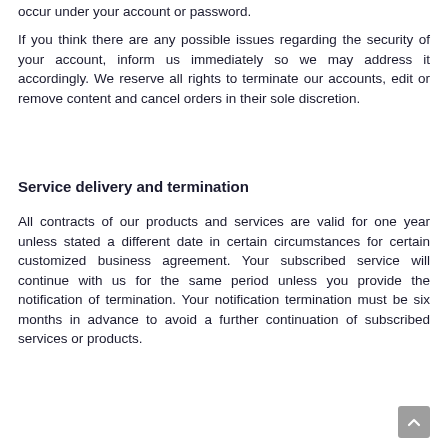occur under your account or password.
If you think there are any possible issues regarding the security of your account, inform us immediately so we may address it accordingly. We reserve all rights to terminate our accounts, edit or remove content and cancel orders in their sole discretion.
Service delivery and termination
All contracts of our products and services are valid for one year unless stated a different date in certain circumstances for certain customized business agreement. Your subscribed service will continue with us for the same period unless you provide the notification of termination. Your notification termination must be six months in advance to avoid a further continuation of subscribed services or products.